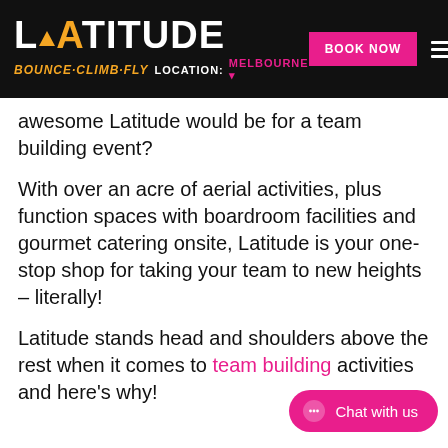LATITUDE BOUNCE·CLIMB·FLY  LOCATION: MELBOURNE  BOOK NOW
awesome Latitude would be for a team building event?
With over an acre of aerial activities, plus function spaces with boardroom facilities and gourmet catering onsite, Latitude is your one-stop shop for taking your team to new heights – literally!
Latitude stands head and shoulders above the rest when it comes to team building activities and here's why!